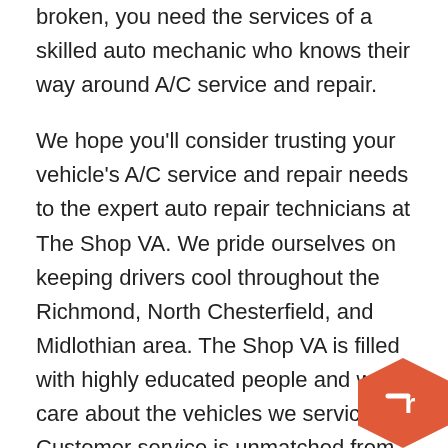broken, you need the services of a skilled auto mechanic who knows their way around A/C service and repair.
We hope you'll consider trusting your vehicle's A/C service and repair needs to the expert auto repair technicians at The Shop VA. We pride ourselves on keeping drivers cool throughout the Richmond, North Chesterfield, and Midlothian area. The Shop VA is filled with highly educated people and we care about the vehicles we service. Customer service is unmatched from start to finish. We are known for our honesty. Our owner, Kelly Shelton, is dedicated to making sure you know all your options when we go over the issues we've found during our inspection of all vehicles. We guarantee our work. Our goal is always your total